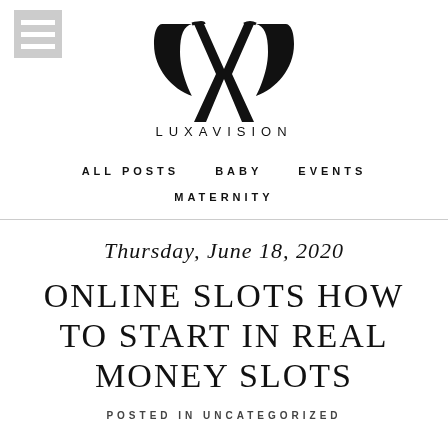[Figure (logo): Luxavision logo with stylized LXV monogram and text LUXAVISION below]
ALL POSTS  BABY  EVENTS  MATERNITY
Thursday, June 18, 2020
ONLINE SLOTS HOW TO START IN REAL MONEY SLOTS
POSTED IN UNCATEGORIZED